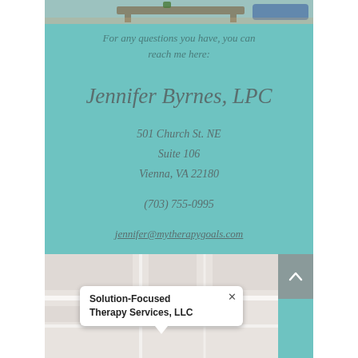[Figure (photo): Partial view of a therapy office room with a coffee table and couch, cropped at top of page]
For any questions you have, you can reach me here:
Jennifer Byrnes, LPC
501 Church St. NE
Suite 106
Vienna, VA 22180
(703) 755-0995
jennifer@mytherapygoals.com
[Figure (map): Google Maps screenshot showing location of Solution-Focused Therapy Services, LLC with a map popup label]
Solution-Focused Therapy Services, LLC